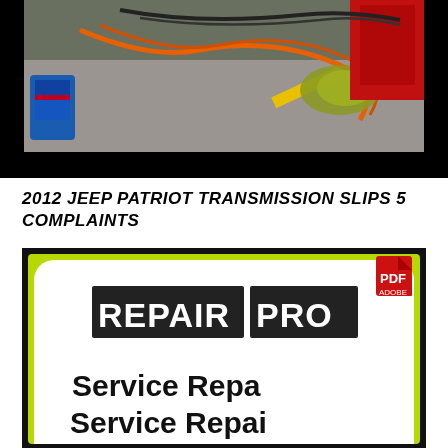[Figure (photo): Top-down view of a garage floor with orange extension cords, a blue oil/fluid container, yellow stripe on floor, red vehicle bumper, and a yellow/green rag. A black bar runs across the bottom of the image.]
2012 JEEP PATRIOT TRANSMISSION SLIPS 5 COMPLAINTS
[Figure (logo): REPAIR PRO Service Repair logo — white rounded rectangle with lime green border, black background bar at top containing a PDF icon. The logo shows 'REPAIR' in dark block letters and 'PRO' in a separate dark block, and 'Service Repair' in large bold text below.]